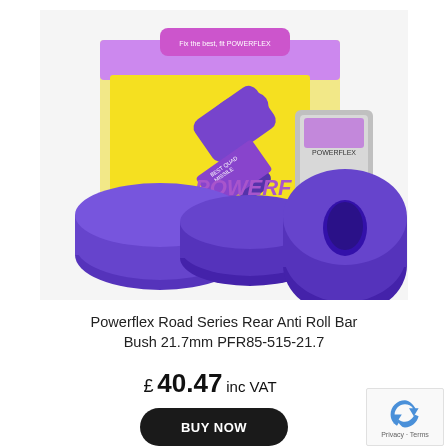[Figure (photo): Powerflex Road Series Rear Anti Roll Bar Bush 21.7mm product photo showing purple polyurethane bushes with Powerflex packaging box and grease sachet]
Powerflex Road Series Rear Anti Roll Bar Bush 21.7mm PFR85-515-21.7
£ 40.47 inc VAT